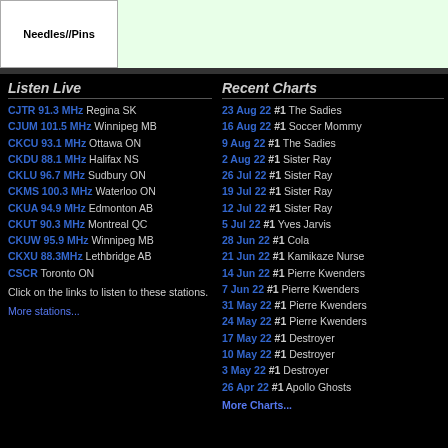Needles//Pins
Listen Live
CJTR 91.3 MHz Regina SK
CJUM 101.5 MHz Winnipeg MB
CKCU 93.1 MHz Ottawa ON
CKDU 88.1 MHz Halifax NS
CKLU 96.7 MHz Sudbury ON
CKMS 100.3 MHz Waterloo ON
CKUA 94.9 MHz Edmonton AB
CKUT 90.3 MHz Montreal QC
CKUW 95.9 MHz Winnipeg MB
CKXU 88.3MHz Lethbridge AB
CSCR Toronto ON
Click on the links to listen to these stations.
More stations...
Recent Charts
23 Aug 22 #1 The Sadies
16 Aug 22 #1 Soccer Mommy
9 Aug 22 #1 The Sadies
2 Aug 22 #1 Sister Ray
26 Jul 22 #1 Sister Ray
19 Jul 22 #1 Sister Ray
12 Jul 22 #1 Sister Ray
5 Jul 22 #1 Yves Jarvis
28 Jun 22 #1 Cola
21 Jun 22 #1 Kamikaze Nurse
14 Jun 22 #1 Pierre Kwenders
7 Jun 22 #1 Pierre Kwenders
31 May 22 #1 Pierre Kwenders
24 May 22 #1 Pierre Kwenders
17 May 22 #1 Destroyer
10 May 22 #1 Destroyer
3 May 22 #1 Destroyer
26 Apr 22 #1 Apollo Ghosts
More Charts...